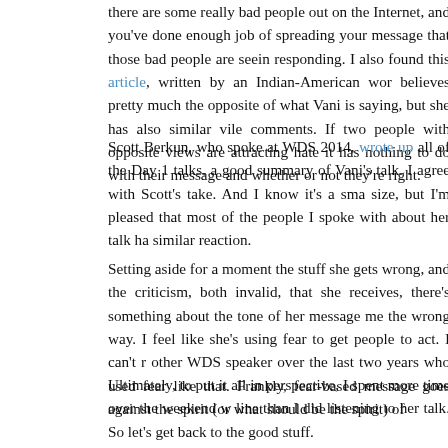there are some really bad people out on the Internet, and you've done enough job of spreading your message that those bad people are seeing and responding. I also found this article, written by an Indian-American woman who believes pretty much the opposite of what Vani is saying, but she has also gotten similar vile comments. If two people with opposite views are attracting hate, then it has nothing to do with their message and whether or not they're right.
Scott Berkun, who spoke at WDS 2014, wrote up all of the Day 1 talks, and has a good summary of Vani's talk. I agree with Scott's take. And I know it's a small sample size, but I'm pleased that most of the people I spoke with about her talk had a similar reaction.
Setting aside for a moment the stuff she gets wrong, and the criticism, both valid and invalid, that she receives, there's something about the tone of her message that rubbed me the wrong way. I feel like she's using fear to get people to act. I can't recall any other WDS speaker over the last two years who used fear like that. Frankly, a fear-based message goes against the spirit (or what should be the spirit) of WDS.
Ultimately, to put it all in perspective, I spent more time over the weekend waiting in line than I did listening to her talk. So let's get back to the good stuff.
Here's a few random closing thoughts that didn't quite fit it anywhere else:
I love Portland. I really do. I was born in New York City, so that will always be my favorite city, but Portland may be my second favorite.
I decided to recreate my picture with Brave Bot at WDS 2014 to show how much weight I've lost (22 pounds) in the last year.